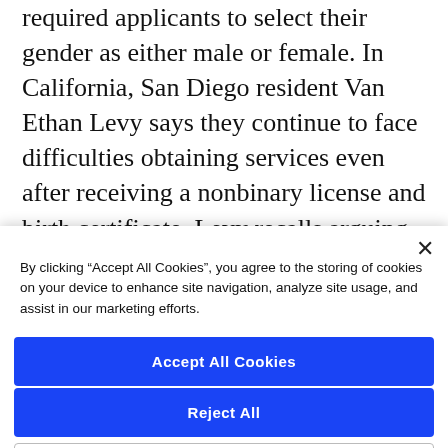required applicants to select their gender as either male or female. In California, San Diego resident Van Ethan Levy says they continue to face difficulties obtaining services even after receiving a nonbinary license and birth certificate. Levy recalls arguing with hospital staff in the emergency room over using a neutral gender marker for their records. In February, the San Diego Blood Bank said L...
By clicking “Accept All Cookies”, you agree to the storing of cookies on your device to enhance site navigation, analyze site usage, and assist in our marketing efforts.
Accept All Cookies
Reject All
Cookies Settings